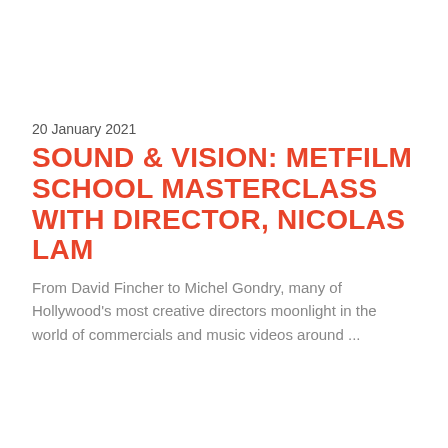20 January 2021
SOUND & VISION: METFILM SCHOOL MASTERCLASS WITH DIRECTOR, NICOLAS LAM
From David Fincher to Michel Gondry, many of Hollywood's most creative directors moonlight in the world of commercials and music videos around ...